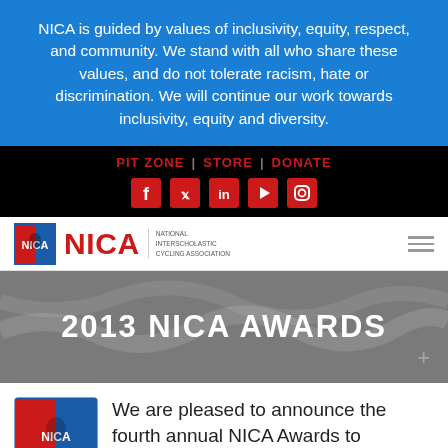NICA is guided by values of inclusivity, equity, respect, and community. We stand with all who share these values, and do not tolerate racism, hate or discrimination. We will continue our work towards inclusivity, equity and diversity.
[Figure (screenshot): Black navigation bar with links: PIT ZONE | STORE | DONATE and social media icons for Facebook, Twitter, LinkedIn, YouTube, Instagram]
[Figure (logo): NICA (National Interscholastic Cycling Association) logo with red cyclist icon, red NICA wordmark, and small subtitle text]
2013 NICA AWARDS
We are pleased to announce the fourth annual NICA Awards to